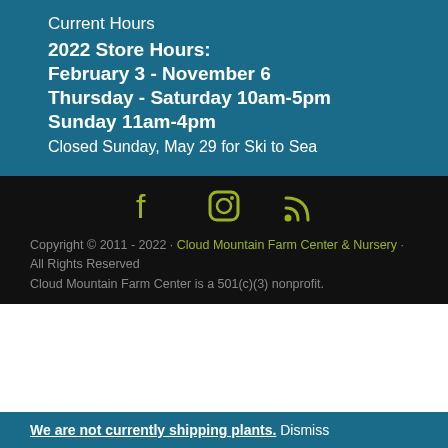Current Hours
2022 Store Hours:
February 3 - November 6
Thursday - Saturday 10am-5pm
Sunday 11am-4pm
Closed Sunday, May 29 for Ski to Sea
[Figure (infographic): Social media icons: Facebook, Instagram, RSS feed in olive/yellow-green color on black background]
Copyright © 2011 - 2022 · Cloud Mountain Farm Center & Nursery · All Rights Reserved
Cloud Mountain Farm Center is a 501(c)(3) nonprofit.
We are not currently shipping plants. Dismiss